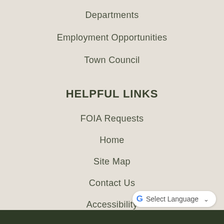Departments
Employment Opportunities
Town Council
HELPFUL LINKS
FOIA Requests
Home
Site Map
Contact Us
Accessibility
Copyright Notices
Select Language